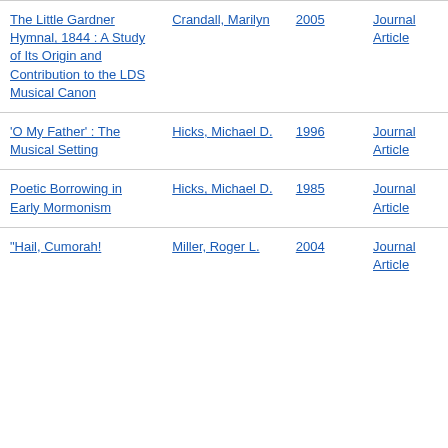| Title | Author | Year | Type |
| --- | --- | --- | --- |
| The Little Gardner Hymnal, 1844 : A Study of Its Origin and Contribution to the LDS Musical Canon | Crandall, Marilyn | 2005 | Journal Article |
| 'O My Father' : The Musical Setting | Hicks, Michael D. | 1996 | Journal Article |
| Poetic Borrowing in Early Mormonism | Hicks, Michael D. | 1985 | Journal Article |
| "Hail, Cumorah! | Miller, Roger L. | 2004 | Journal Article |